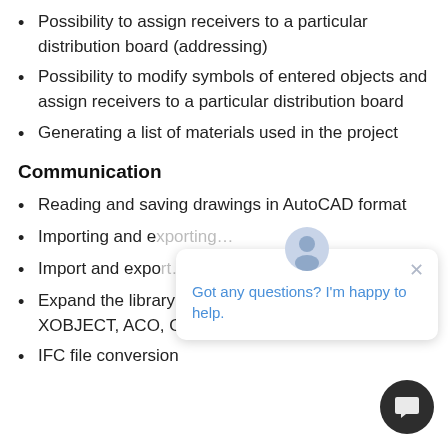Possibility to assign receivers to a particular distribution board (addressing)
Possibility to modify symbols of entered objects and assign receivers to a particular distribution board
Generating a list of materials used in the project
Communication
Reading and saving drawings in AutoCAD format
Importing and exporting…
Import and export…
Expand the library of 2D / 3D objects with XOBJECT, ACO, O2C, OBJ, XOBJ3D and D…
IFC file conversion